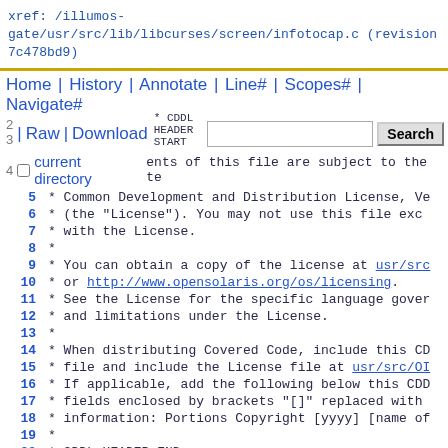xref: /illumos-gate/usr/src/lib/libcurses/screen/infotocap.c (revision 7c478bd9)
Home | History | Annotate | Line# | Scopes# | Navigate# | Raw | Download  [current directory]  Search
Code listing lines 1-25 of infotocap.c, CDDL license header